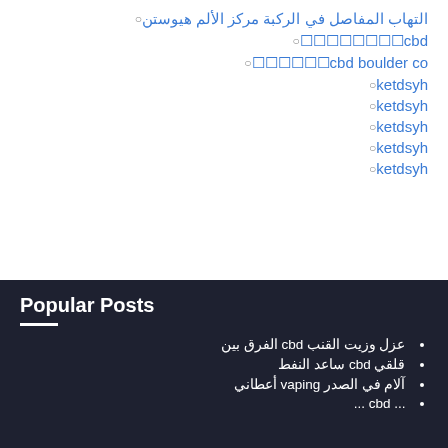التهاب المفاصل في الركبة مركز الألم هيوستن
cbd🔲🔲🔲🔲🔲🔲🔲🔲
cbd boulder co🔲🔲🔲🔲🔲🔲
ketdsyh
ketdsyh
ketdsyh
ketdsyh
ketdsyh
Popular Posts
عزل وزيت القنب cbd الفرق بين
قلقي cbd ساعد النفط
آلام في الصدر vaping أعطاني
...